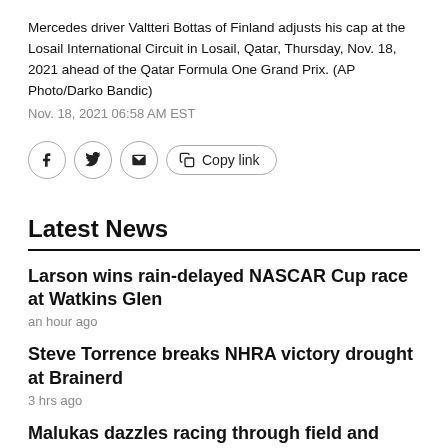Mercedes driver Valtteri Bottas of Finland adjusts his cap at the Losail International Circuit in Losail, Qatar, Thursday, Nov. 18, 2021 ahead of the Qatar Formula One Grand Prix. (AP Photo/Darko Bandic)
Nov. 18, 2021 06:58 AM EST
Latest News
Larson wins rain-delayed NASCAR Cup race at Watkins Glen
an hour ago
Steve Torrence breaks NHRA victory drought at Brainerd
3 hrs ago
Malukas dazzles racing through field and against